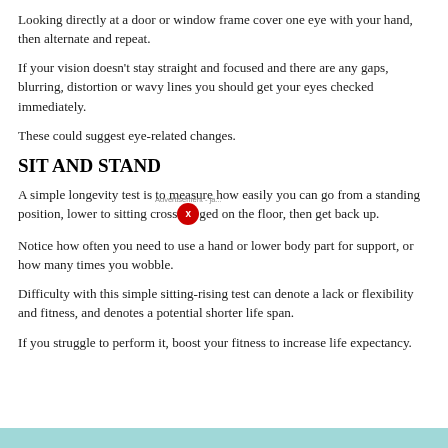Looking directly at a door or window frame cover one eye with your hand, then alternate and repeat.
If your vision doesn't stay straight and focused and there are any gaps, blurring, distortion or wavy lines you should get your eyes checked immediately.
These could suggest eye-related changes.
SIT AND STAND
A simple longevity test is to measure how easily you can go from a standing position, lower to sitting cross-legged on the floor, then get back up.
Notice how often you need to use a hand or lower body part for support, or how many times you wobble.
Difficulty with this simple sitting-rising test can denote a lack or flexibility and fitness, and denotes a potential shorter life span.
If you struggle to perform it, boost your fitness to increase life expectancy.